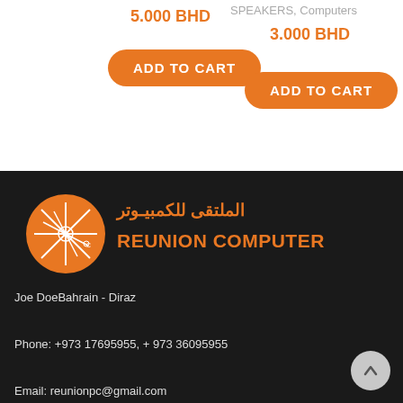5.000 BHD
SPEAKERS, Computers
3.000 BHD
ADD TO CART
ADD TO CART
[Figure (logo): Reunion Computer orange circular logo with stylized design]
الملتقى للكمبيوتر
REUNION COMPUTER
Joe DoeBahrain - Diraz
Phone: +973 17695955, + 973 36095955
Email: reunionpc@gmail.com